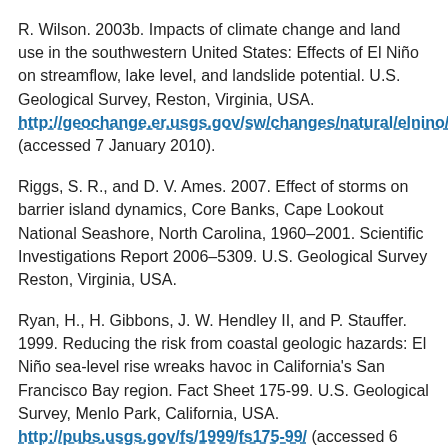R. Wilson. 2003b. Impacts of climate change and land use in the southwestern United States: Effects of El Niño on streamflow, lake level, and landslide potential. U.S. Geological Survey, Reston, Virginia, USA. http://geochange.er.usgs.gov/sw/changes/natural/elnino/ (accessed 7 January 2010).
Riggs, S. R., and D. V. Ames. 2007. Effect of storms on barrier island dynamics, Core Banks, Cape Lookout National Seashore, North Carolina, 1960–2001. Scientific Investigations Report 2006–5309. U.S. Geological Survey Reston, Virginia, USA.
Ryan, H., H. Gibbons, J. W. Hendley II, and P. Stauffer. 1999. Reducing the risk from coastal geologic hazards: El Niño sea-level rise wreaks havoc in California's San Francisco Bay region. Fact Sheet 175-99. U.S. Geological Survey, Menlo Park, California, USA. http://pubs.usgs.gov/fs/1999/fs175-99/ (accessed 6 January 2010).